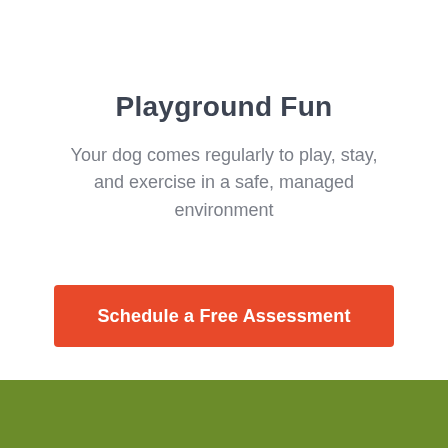Playground Fun
Your dog comes regularly to play, stay, and exercise in a safe, managed environment
Schedule a Free Assessment